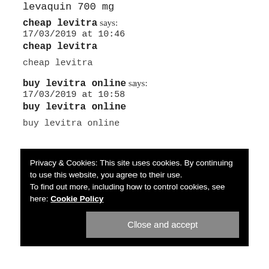levaquin 700 mg
cheap levitra says:
17/03/2019 at 10:46
cheap levitra
cheap levitra
buy levitra online says:
17/03/2019 at 10:58
buy levitra online
buy levitra online
Privacy & Cookies: This site uses cookies. By continuing to use this website, you agree to their use.
To find out more, including how to control cookies, see here: Cookie Policy
Close and accept
...